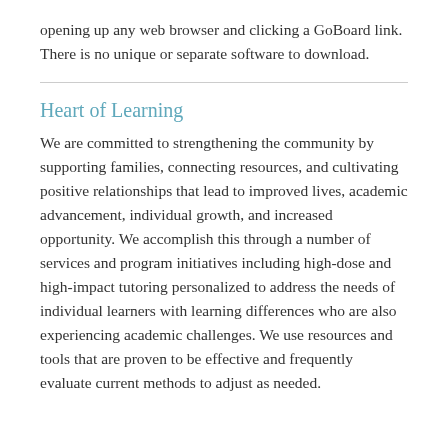opening up any web browser and clicking a GoBoard link. There is no unique or separate software to download.
Heart of Learning
We are committed to strengthening the community by supporting families, connecting resources, and cultivating positive relationships that lead to improved lives, academic advancement, individual growth, and increased opportunity. We accomplish this through a number of services and program initiatives including high-dose and high-impact tutoring personalized to address the needs of individual learners with learning differences who are also experiencing academic challenges. We use resources and tools that are proven to be effective and frequently evaluate current methods to adjust as needed.